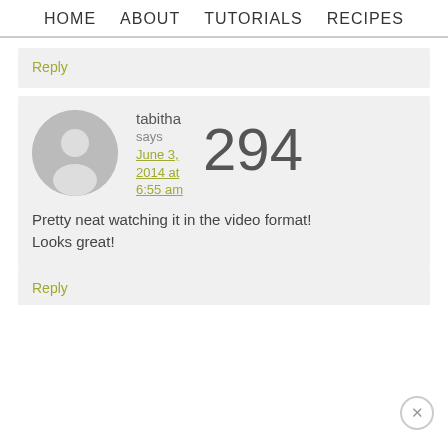HOME   ABOUT   TUTORIALS   RECIPES
Reply
[Figure (illustration): User avatar circle with generic person silhouette icon in gray]
tabitha says June 3, 2014 at 6:55 am    294
Pretty neat watching it in the video format! Looks great!
Reply